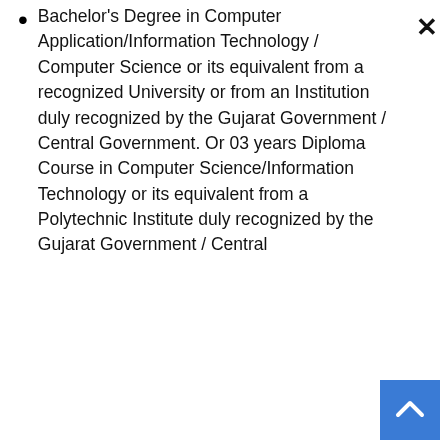Bachelor's Degree in Computer Application/Information Technology / Computer Science or its equivalent from a recognized University or from an Institution duly recognized by the Gujarat Government / Central Government. Or 03 years Diploma Course in Computer Science/Information Technology or its equivalent from a Polytechnic Institute duly recognized by the Gujarat Government / Central